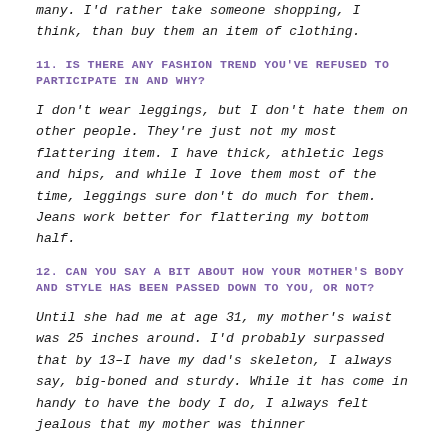many. I'd rather take someone shopping, I think, than buy them an item of clothing.
11. IS THERE ANY FASHION TREND YOU'VE REFUSED TO PARTICIPATE IN AND WHY?
I don't wear leggings, but I don't hate them on other people. They're just not my most flattering item. I have thick, athletic legs and hips, and while I love them most of the time, leggings sure don't do much for them. Jeans work better for flattering my bottom half.
12. CAN YOU SAY A BIT ABOUT HOW YOUR MOTHER'S BODY AND STYLE HAS BEEN PASSED DOWN TO YOU, OR NOT?
Until she had me at age 31, my mother's waist was 25 inches around. I'd probably surpassed that by 13–I have my dad's skeleton, I always say, big-boned and sturdy. While it has come in handy to have the body I do, I always felt jealous that my mother was thinner